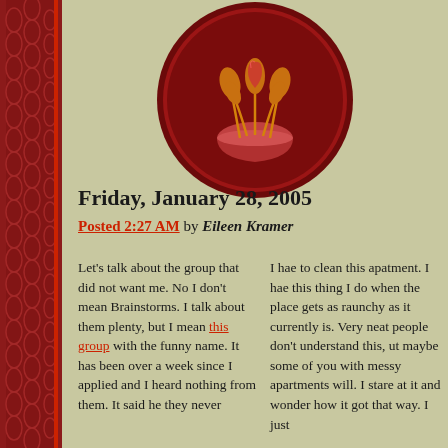[Figure (logo): Circular dark red logo with a bowl and plant/leaf design on a beige-green background]
Friday, January 28, 2005
Posted 2:27 AM by Eileen Kramer
Let's talk about the group that did not want me. No I don't mean Brainstorms. I talk about them plenty, but I mean this group with the funny name. It has been over a week since I applied and I heard nothing from them. It said he they never
I hae to clean this apatment. I hae this thing I do when the place gets as raunchy as it currently is. Very neat people don't understand this, ut maybe some of you with messy apartments will. I stare at it and wonder how it got that way. I just